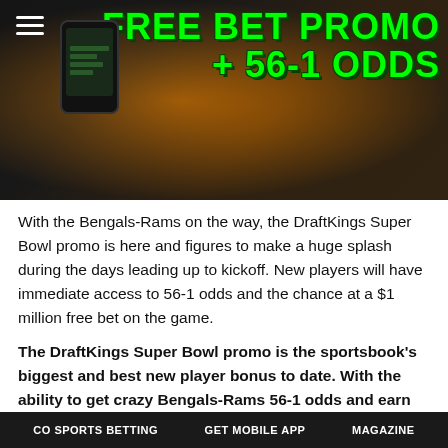[Figure (photo): Hero image showing a person in an orange jersey holding a phone, with green text overlay reading 'FREE BET PROMO + 56-1 ODDS' and a hamburger menu icon in the top left]
With the Bengals-Rams on the way, the DraftKings Super Bowl promo is here and figures to make a huge splash during the days leading up to kickoff. New players will have immediate access to 56-1 odds and the chance at a $1 million free bet on the game.
The DraftKings Super Bowl promo is the sportsbook's biggest and best new player bonus to date. With the ability to get crazy Bengals-Rams 56-1 odds and earn massive free bets divided up from a $10 million pool, it could be more than just the Rams and Bengals with a chance to win big.
After focusing on in-game contest for last year's game, this year's
CO SPORTS BETTING   GET MOBILE APP   MAGAZINE